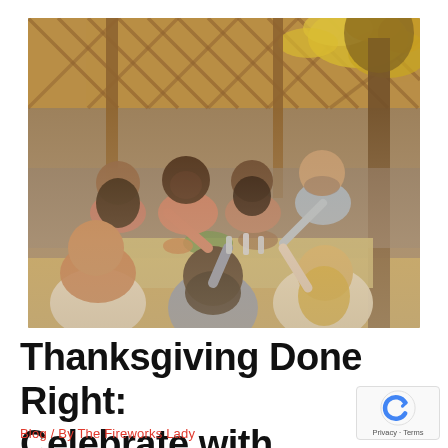[Figure (photo): A group of diverse friends gathered around an outdoor table for a Thanksgiving meal, clinking glasses and smiling. The setting is a backyard patio with a wooden lattice pergola above, autumn leaves, and a large tree to the right. The people are seated around a table with food and drinks.]
Thanksgiving Done Right: Celebrate with Firework
Blog / By The Fireworks Lady